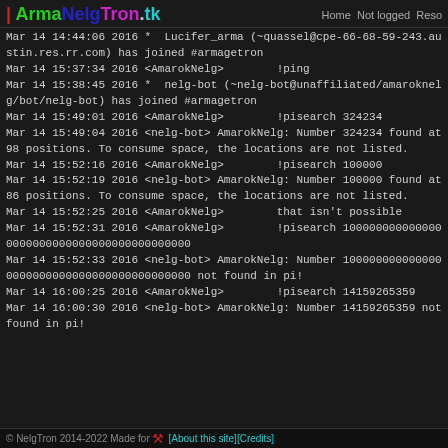| ArmaNelgTron.tk  Home  Not logged  Reso
Mar 14 14:44:06 2016 *  Lucifer_arma (~quassel@cpe-66-68-59-243.austin.res.rr.com) has joined #armagetron
Mar 14 15:37:34 2016 <AmarokNelg>        !ping
Mar 14 15:38:45 2016 *  nelg-bot (~nelg-bot@unaffiliated/amaroknelg/bot/nelg-bot) has joined #armagetron
Mar 14 15:49:01 2016 <AmarokNelg>        !pisearch 324234
Mar 14 15:49:04 2016 <nelg-bot> AmarokNelg: Number 324234 found at 98 positions. To consume space, the locations are not listed.
Mar 14 15:52:16 2016 <AmarokNelg>        !pisearch 100000
Mar 14 15:52:19 2016 <nelg-bot> AmarokNelg: Number 100000 found at 86 positions. To consume space, the locations are not listed.
Mar 14 15:52:25 2016 <AmarokNelg>        that isn't possible
Mar 14 15:52:31 2016 <AmarokNelg>        !pisearch 1000000000000000000000000000000000000000000
Mar 14 15:52:33 2016 <nelg-bot> AmarokNelg: Number 1000000000000000000000000000000000000000000 not found in pi!
Mar 14 16:00:25 2016 <AmarokNelg>        !pisearch 14159265359
Mar 14 16:00:30 2016 <nelg-bot> AmarokNelg: Number 14159265359 not found in pi!
© NelgTron 2014-2022 Made for [About this site][Credits]